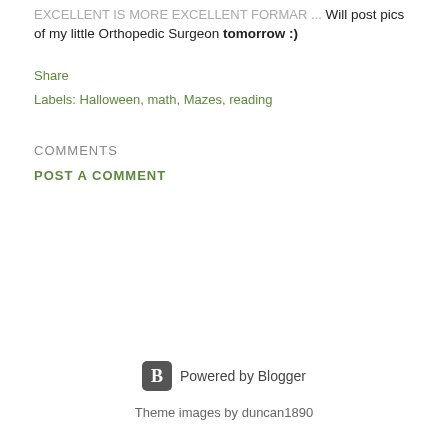Will post pics of my little Orthopedic Surgeon tomorrow :)
Share
Labels: Halloween, math, Mazes, reading
COMMENTS
POST A COMMENT
Powered by Blogger
Theme images by duncan1890